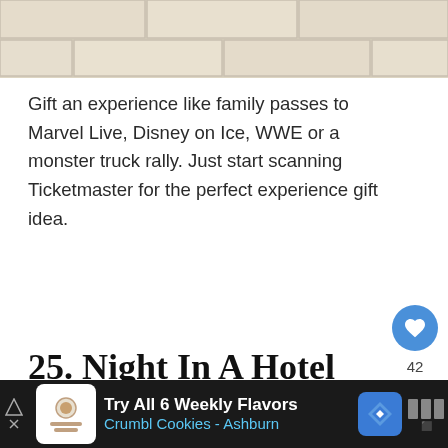[Figure (photo): Top portion of a stone/tile wall photo, cropped at the top of the page]
Gift an experience like family passes to Marvel Live, Disney on Ice, WWE or a monster truck rally. Just start scanning Ticketmaster for the perfect experience gift idea.
25. Night In A Hotel
[Figure (photo): Bottom portion showing a hotel room photo, partially visible at bottom of page]
[Figure (other): Advertisement banner for Crumbl Cookies - Ashburn: Try All 6 Weekly Flavors]